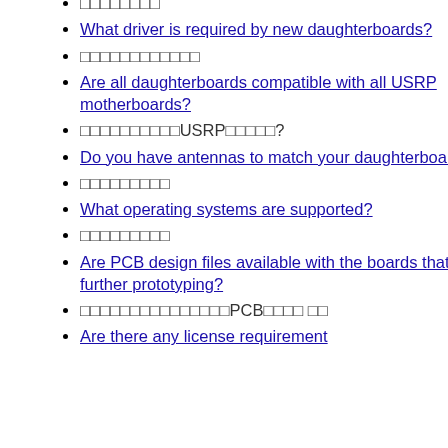现在哪些子板
What driver is required by new daughterboards?
新子板需要什么驱动程序
Are all daughterboards compatible with all USRP motherboards?
所有子板都与所有USRP主板兼容吗?
Do you have antennas to match your daughterboards?
你有天线吗
What operating systems are supported?
支持哪些操作系统
Are PCB design files available with the boards that may aid in further prototyping?
电路板是否提供可能有助于进一步原型设计的PCB设计文件
Are there any license requirement